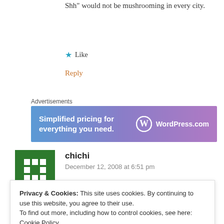Shh" would not be mushrooming in every city.
★ Like
Reply
Advertisements
[Figure (other): WordPress.com advertisement banner: 'Simplified pricing for everything you need.']
chichi
December 12, 2008 at 6:51 pm
Privacy & Cookies: This site uses cookies. By continuing to use this website, you agree to their use.
To find out more, including how to control cookies, see here: Cookie Policy
Close and accept
rubbish. You know it's worthless and so